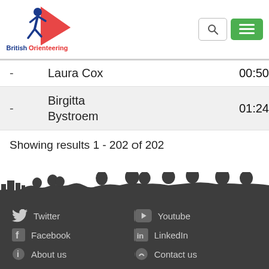[Figure (logo): British Orienteering logo with stylized running figure and red/blue triangular design, text 'British Orienteering' in blue and red]
| Pos | Name | Time |
| --- | --- | --- |
| - | Laura Cox | 00:50 |
| - | Birgitta Bystroem | 01:24 |
Showing results 1 - 202 of 202
[Figure (illustration): Dark silhouette landscape with trees and city skyline forming a decorative footer illustration]
Twitter | Youtube | Facebook | LinkedIn | About us | Contact us